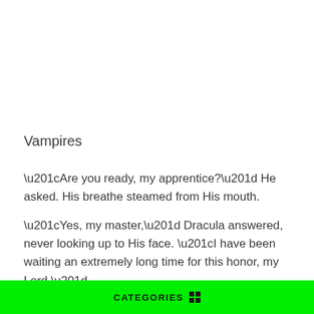Vampires
“Are you ready, my apprentice?” He asked. His breathe steamed from His mouth.
“Yes, my master,” Dracula answered, never looking up to His face. “I have been waiting an extremely long time for this honor, my Lord.”
“Spare me your pity. I’ve heard enough of the Lord, and I don’t
CATEGORIES